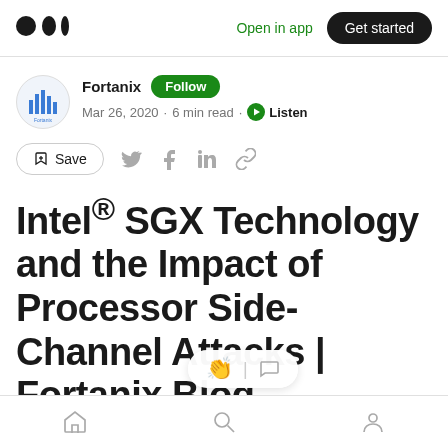Open in app | Get started
Fortanix Follow
Mar 26, 2020 · 6 min read · Listen
Intel® SGX Technology and the Impact of Processor Side-Channel Attacks | Fortanix Blog